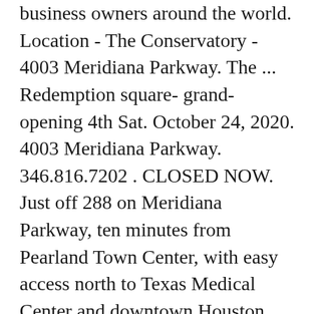business owners around the world. Location - The Conservatory - 4003 Meridiana Parkway. The ... Redemption square- grand-opening 4th Sat. October 24, 2020. 4003 Meridiana Parkway. 346.816.7202 . CLOSED NOW. Just off 288 on Meridiana Parkway, ten minutes from Pearland Town Center, with easy access north to Texas Medical Center and downtown Houston, and south to DOW and BASF, Meridiana is right where you want to be. OASIS VILLAGE & INFO CENTER: 4003 Meridiana Parkway | Iowa Colony, TX 77583 HOURS: Monday-Saturday 10am - 6pm | Sunday 12pm - 6pm SEE BUILDER REPRESENTATIVE FOR PROMOTION DETAILS *Prices, features, plans, and availability subject to change without notice. Hidden Trails || 28'